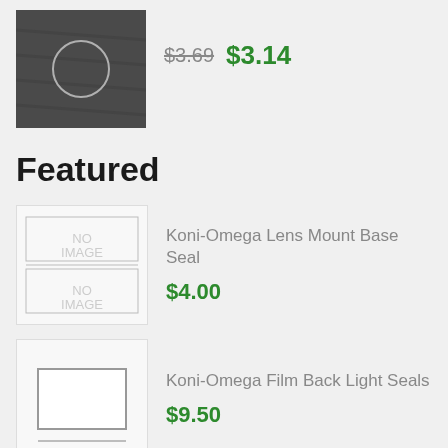[Figure (photo): Dark gray textured product image with a circular ring visible in center]
$3.69  $3.14
Featured
[Figure (photo): Placeholder image showing NO IMAGE text in two rows with a horizontal line divider]
Koni-Omega Lens Mount Base Seal
$4.00
[Figure (photo): Placeholder image showing a rectangle outline]
Koni-Omega Film Back Light Seals
$9.50
[Figure (photo): Product image showing small brown/orange objects on white background]
Canon YA2-4579 Taper Collar